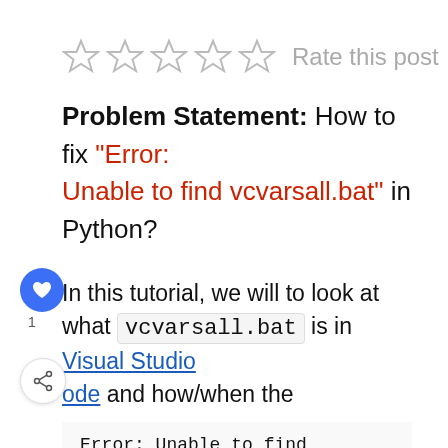[Figure (other): Five empty star rating icons followed by 'Rate this post' text in gray]
Problem Statement: How to fix "Error: Unable to find vcvarsall.bat" in Python?
In this tutorial, we will to look at what vcvarsall.bat is in Visual Studio Code and how/when the
Error: Unable to find vcvarsall.bat
occurs in Python. We will also look at